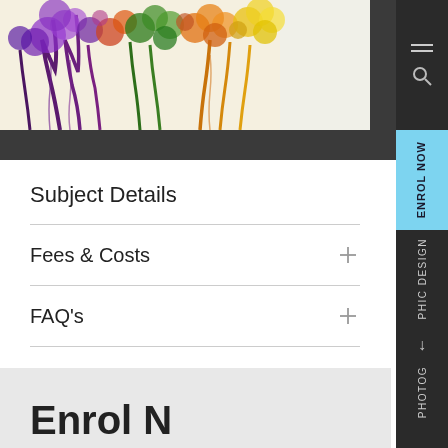[Figure (illustration): Colorful abstract artwork showing trees with vivid purple, orange, yellow, green colors dripping/blending together against a light background]
Subject Details
Fees & Costs
FAQ's
ENROL NOW
PHIC DESIGN
PHOTOG